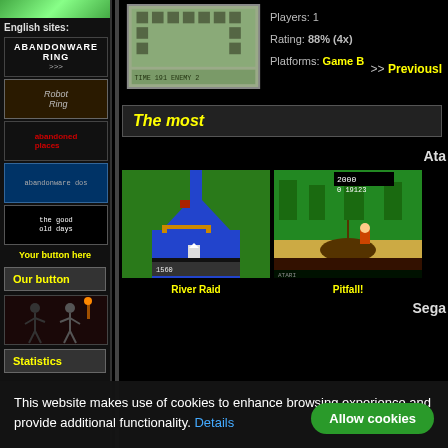[Figure (screenshot): Top green banner image in sidebar]
English sites:
[Figure (logo): Abandonware Ring banner]
[Figure (logo): Robot Ring banner]
[Figure (logo): Abandoned Places banner]
[Figure (logo): Abandonware DOS banner]
[Figure (logo): The Good Old Days banner]
Your button here
Our button
[Figure (illustration): Sidebar illustration with figures fighting]
Statistics
Players: 1
Rating: 88% (4x)
Platforms: Game B
>> Previously
The most
Ata
[Figure (screenshot): River Raid Atari game screenshot]
[Figure (screenshot): Pitfall! Atari game screenshot]
River Raid
Pitfall!
Sega
This website makes use of cookies to enhance browsing experience and provide additional functionality. Details
Allow cookies